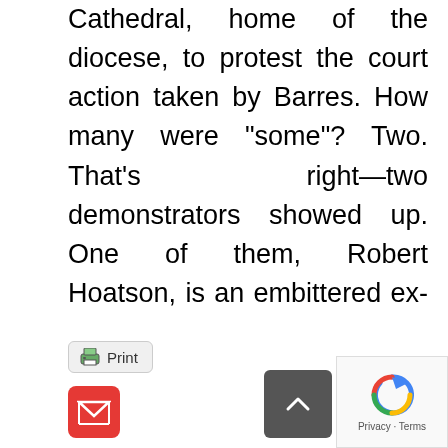Cathedral, home of the diocese, to protest the court action taken by Barres. How many were “some”? Two. That’s right—two demonstrators showed up. One of them, Robert Hoatson, is an embittered ex-priest from New Jersey who hates the Catholic Church. So this is what passes as news?
Kudos to Bishop Barres for standing up for the rights of the accused, as well as for the welfare of victims.
[Figure (other): UI elements: Print button, Gmail icon button, scroll-to-top arrow button, and reCAPTCHA widget with Privacy-Terms text]